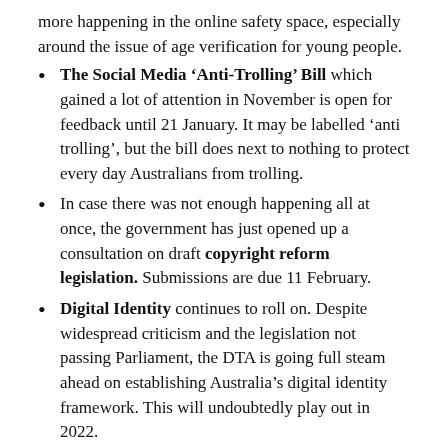more happening in the online safety space, especially around the issue of age verification for young people.
The Social Media 'Anti-Trolling' Bill which gained a lot of attention in November is open for feedback until 21 January. It may be labelled 'anti trolling', but the bill does next to nothing to protect every day Australians from trolling.
In case there was not enough happening all at once, the government has just opened up a consultation on draft copyright reform legislation. Submissions are due 11 February.
Digital Identity continues to roll on. Despite widespread criticism and the legislation not passing Parliament, the DTA is going full steam ahead on establishing Australia's digital identity framework. This will undoubtedly play out in 2022.
We're also looking forward to more events, projects and opportunities to team up with others in the digital rights